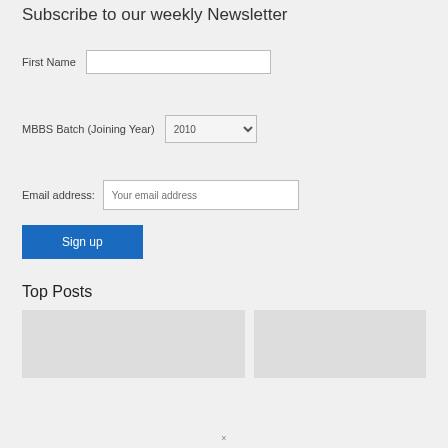Subscribe to our weekly Newsletter
First Name [input field]
MBBS Batch (Joining Year) [dropdown: 2010]
Email address: [Your email address input]
Sign up
Top Posts
[Figure (photo): Two placeholder image thumbnails for top posts]
×